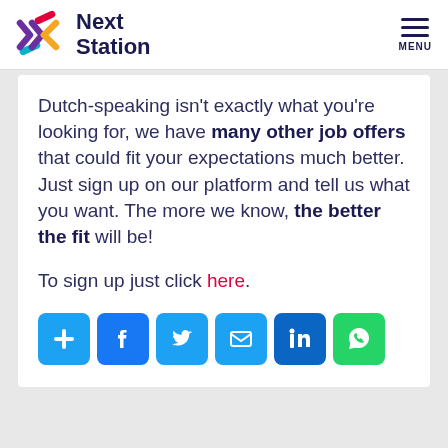Next Station | MENU
Dutch-speaking isn't exactly what you're looking for, we have many other job offers that could fit your expectations much better. Just sign up on our platform and tell us what you want. The more we know, the better the fit will be!
To sign up just click here.
[Figure (other): Social sharing buttons row: share (+), Facebook, Twitter, email, LinkedIn, WhatsApp]